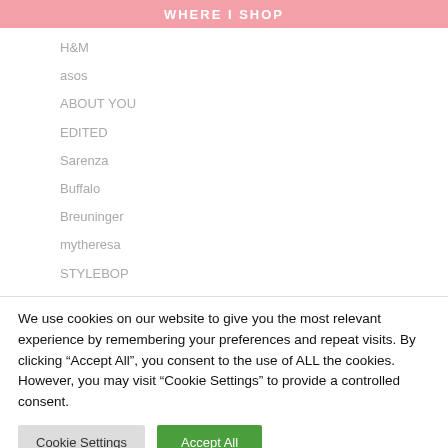WHERE I SHOP
H&M
asos
ABOUT YOU
EDITED
Sarenza
Buffalo
Breuninger
mytheresa
STYLEBOP
We use cookies on our website to give you the most relevant experience by remembering your preferences and repeat visits. By clicking "Accept All", you consent to the use of ALL the cookies. However, you may visit "Cookie Settings" to provide a controlled consent.
Cookie Settings | Accept All